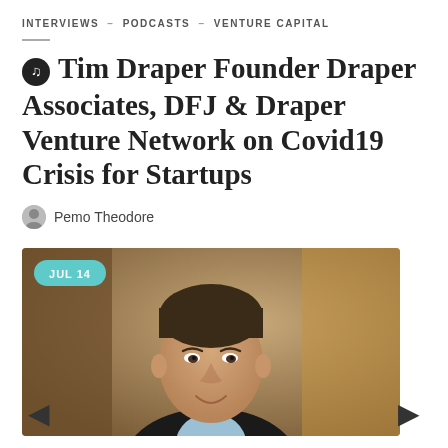INTERVIEWS – PODCASTS – VENTURE CAPITAL
🎵 Tim Draper Founder Draper Associates, DFJ & Draper Venture Network on Covid19 Crisis for Startups
Pemo Theodore
[Figure (photo): Headshot of a man in a dark suit and light blue shirt, smiling, with a blurred indoor background. A teal badge in the upper left reads 'JUL 14'.]